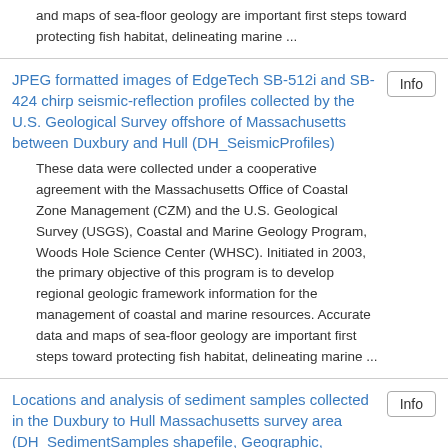and maps of sea-floor geology are important first steps toward protecting fish habitat, delineating marine ...
JPEG formatted images of EdgeTech SB-512i and SB-424 chirp seismic-reflection profiles collected by the U.S. Geological Survey offshore of Massachusetts between Duxbury and Hull (DH_SeismicProfiles)
These data were collected under a cooperative agreement with the Massachusetts Office of Coastal Zone Management (CZM) and the U.S. Geological Survey (USGS), Coastal and Marine Geology Program, Woods Hole Science Center (WHSC). Initiated in 2003, the primary objective of this program is to develop regional geologic framework information for the management of coastal and marine resources. Accurate data and maps of sea-floor geology are important first steps toward protecting fish habitat, delineating marine ...
Locations and analysis of sediment samples collected in the Duxbury to Hull Massachusetts survey area (DH_SedimentSamples shapefile, Geographic, WGS84)
These data were collected under a cooperative agreement with the Massachusetts Office of Coastal Zone Management (CZM) and the U.S. Geological Survey (USGS), Coastal and Marine Geology Program, Woods Hole Science Center (WHSC). Initiated in 2003, the primary objective of this program is to